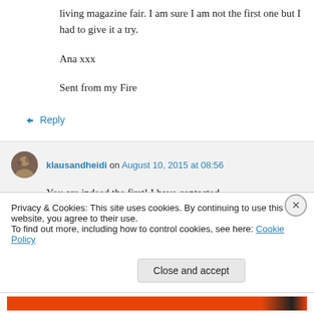living magazine fair. I am sure I am not the first one but I had to give it a try.

Ana xxx

Sent from my Fire
↳ Reply
klausandheidi on August 10, 2015 at 08:56
You are indeed the first! I have contacted
Privacy & Cookies: This site uses cookies. By continuing to use this website, you agree to their use.
To find out more, including how to control cookies, see here: Cookie Policy
Close and accept